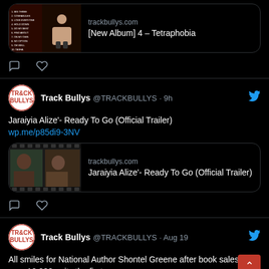[Figure (screenshot): Partial tweet showing a link card for '[New Album] 4 - Tetraphobia' from trackbullys.com with album cover image, and tweet action icons (comment, like)]
Track Bullys @TRACKBULLYS · 9h
Jaraiyia Alize'- Ready To Go (Official Trailer)
wp.me/p85di9-3NV
[Figure (screenshot): Link card showing trackbullys.com with video thumbnail and title 'Jaraiyia Alize'- Ready To Go (Official Trailer)']
Track Bullys @TRACKBULLYS · Aug 19
All smiles for National Author Shontel Greene after book sales hit over 10,000 units the first